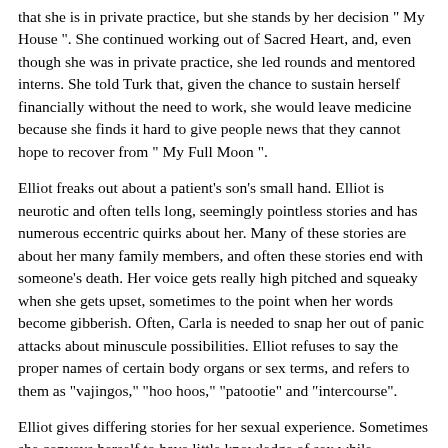that she is in private practice, but she stands by her decision " My House ". She continued working out of Sacred Heart, and, even though she was in private practice, she led rounds and mentored interns. She told Turk that, given the chance to sustain herself financially without the need to work, she would leave medicine because she finds it hard to give people news that they cannot hope to recover from " My Full Moon ".
Elliot freaks out about a patient's son's small hand. Elliot is neurotic and often tells long, seemingly pointless stories and has numerous eccentric quirks about her. Many of these stories are about her many family members, and often these stories end with someone's death. Her voice gets really high pitched and squeaky when she gets upset, sometimes to the point when her words become gibberish. Often, Carla is needed to snap her out of panic attacks about minuscule possibilities. Elliot refuses to say the proper names of certain body organs or sex terms, and refers to them as "vajingos," "hoo hoos," "patootie" and "intercourse".
Elliot gives differing stories for her sexual experience. Sometimes she conveys herself to have little knowledge of sex while sometimes she talks about how many different men she has been with. She also fantasizes about old men and cider houses. After meeting on their first day at Sacred Heartthey were around each other enough to get to know each other quickly " My First Day ".